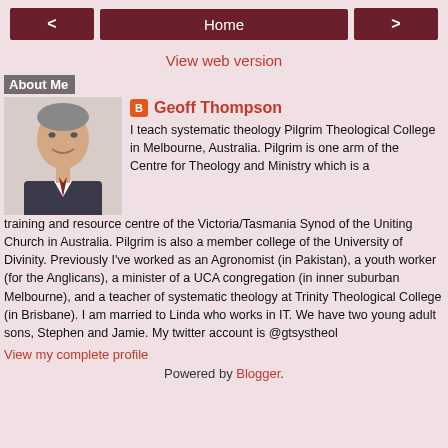< Home >
View web version
About Me
[Figure (photo): Portrait photo of Geoff Thompson, a middle-aged man in a suit, smiling]
Geoff Thompson
I teach systematic theology Pilgrim Theological College in Melbourne, Australia. Pilgrim is one arm of the Centre for Theology and Ministry which is a training and resource centre of the Victoria/Tasmania Synod of the Uniting Church in Australia. Pilgrim is also a member college of the University of Divinity. Previously I've worked as an Agronomist (in Pakistan), a youth worker (for the Anglicans), a minister of a UCA congregation (in inner suburban Melbourne), and a teacher of systematic theology at Trinity Theological College (in Brisbane). I am married to Linda who works in IT. We have two young adult sons, Stephen and Jamie. My twitter account is @gtsystheol
View my complete profile
Powered by Blogger.